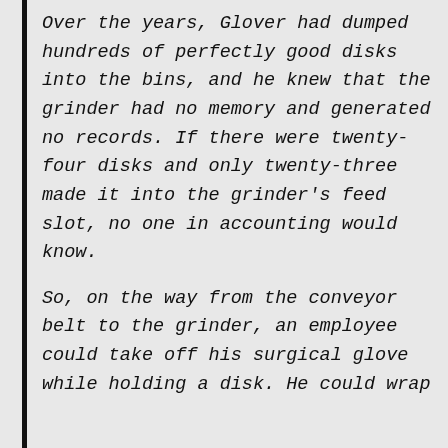Over the years, Glover had dumped hundreds of perfectly good disks into the bins, and he knew that the grinder had no memory and generated no records. If there were twenty-four disks and only twenty-three made it into the grinder's feed slot, no one in accounting would know.

So, on the way from the conveyor belt to the grinder, an employee could take off his surgical glove while holding a disk. He could wrap